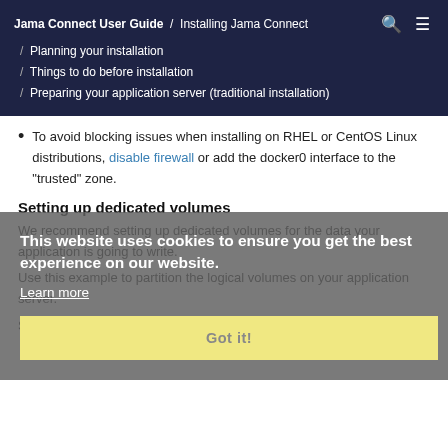Jama Connect User Guide / Installing Jama Connect / Planning your installation / Things to do before installation / Preparing your application server (traditional installation)
To avoid blocking issues when installing on RHEL or CentOS Linux distributions, disable firewall or add the docker0 interface to the "trusted" zone.
Setting up dedicated volumes
We recommend setting up dedicated volumes for the data your application is going to write.
Use this example to partition the logical volumes on your application server.
Start with a 100 GB disk.